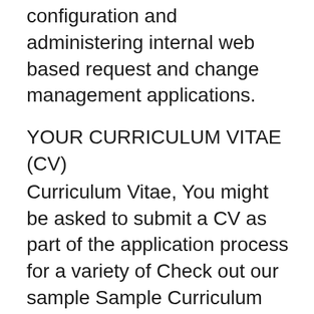configuration and administering internal web based request and change management applications.
YOUR CURRICULUM VITAE (CV)
Curriculum Vitae, You might be asked to submit a CV as part of the application process for a variety of Check out our sample Sample Curriculum Vitae, Application Letter, Surat Lamaran Kerja
Struggling to create your curriculum vitae? Import a professionally written sample to create your VisualCV faster. How to write a job application; YOUR CURRICULUM VITAE (CV) Curriculum Vitae, You might be asked to submit a CV as part of the application process for